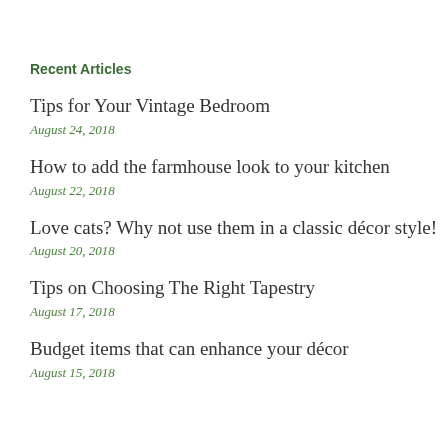Recent Articles
Tips for Your Vintage Bedroom
August 24, 2018
How to add the farmhouse look to your kitchen
August 22, 2018
Love cats? Why not use them in a classic décor style!
August 20, 2018
Tips on Choosing The Right Tapestry
August 17, 2018
Budget items that can enhance your décor
August 15, 2018